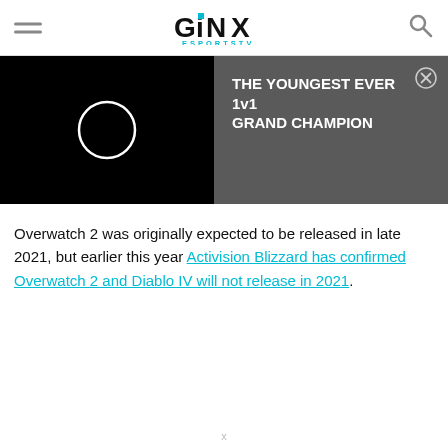GINX ESPORTSTV
[Figure (screenshot): Video thumbnail with black background and white circle loading spinner on the left; dark grey promo panel on the right showing text 'THE YOUNGEST EVER 1v1 GRAND CHAMPION' with a close button]
Overwatch 2 was originally expected to be released in late 2021, but earlier this year Activision Blizzard has confirmed Overwatch 2 and Diablo IV will not release in 2021.
x